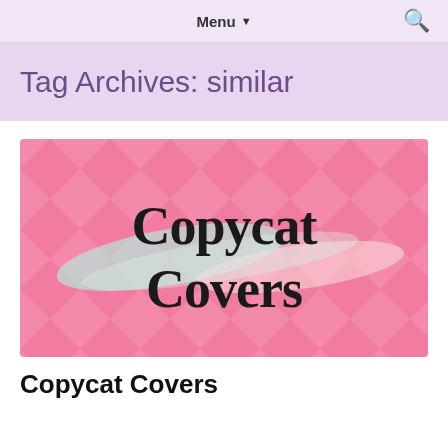Menu ▼
Tag Archives: similar
[Figure (illustration): Copycat Covers logo image: pink diamond-pattern background with a gradient paint-brush stroke and bold black serif text reading 'Copycat Covers']
Copycat Covers